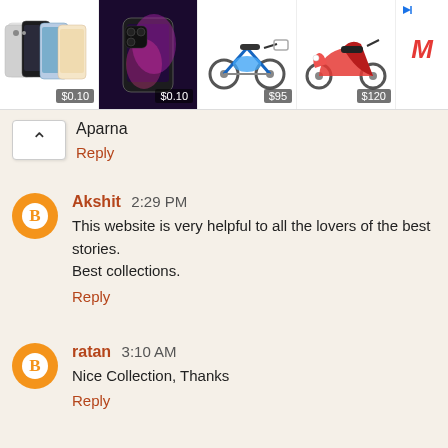[Figure (other): Advertisement banner showing two iPhone models priced at $0.10 each, an electric bicycle at $95, a red scooter at $120, and a red M logo on the right]
Aparna
Reply
Akshit  2:29 PM
This website is very helpful to all the lovers of the best stories. Best collections.
Reply
ratan  3:10 AM
Nice Collection, Thanks
Reply